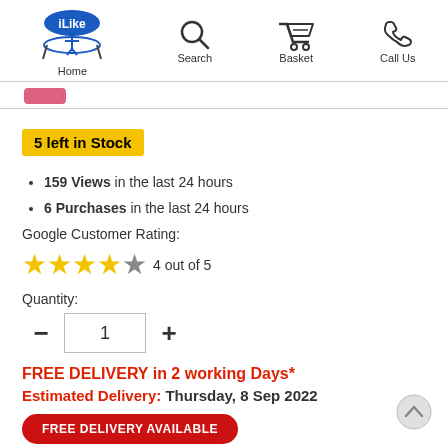Home | Search | Basket | Call Us
5 left in Stock
159 Views in the last 24 hours
6 Purchases in the last 24 hours
Google Customer Rating:
[Figure (infographic): Star rating: 4 filled stars and 1 empty star, with text '4 out of 5']
Quantity:
[Figure (infographic): Quantity selector with minus button, input field showing 1, and plus button]
FREE DELIVERY in 2 working Days*
Estimated Delivery: Thursday, 8 Sep 2022
FREE DELIVERY AVAILABLE